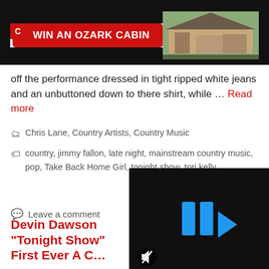[Figure (photo): Advertisement banner: WIN AN OZARK CABIN button on red background, with a photo of a cabin on the right, on dark header bar]
off the performance dressed in tight ripped white jeans and an unbuttoned down to there shirt, while … Read more
Categories: Chris Lane, Country Artists, Country Music
Tags: country, jimmy fallon, late night, mainstream country music, pop, Take Back Home Girl, tonight show, tori kelly
Leave a comment
Devin Dawso... "Tonight Sho... First Ever A C...
[Figure (screenshot): Dark video thumbnail with blue play button logo (streaming service icon) and mute icon at bottom left]